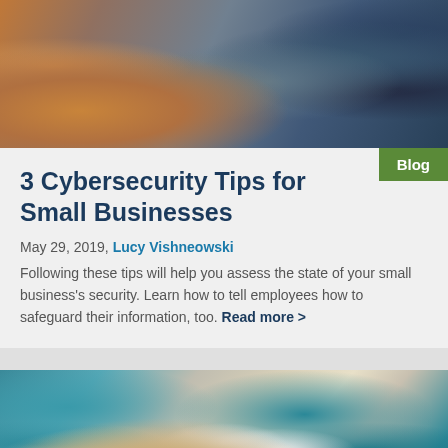[Figure (photo): Two people working at a desk with laptops and a tablet; business meeting setting]
3 Cybersecurity Tips for Small Businesses
May 29, 2019, Lucy Vishneowski
Following these tips will help you assess the state of your small business's security. Learn how to tell employees how to safeguard their information, too. Read more >
[Figure (photo): Female doctor in white coat with stethoscope working on a laptop in a medical office with teal background]